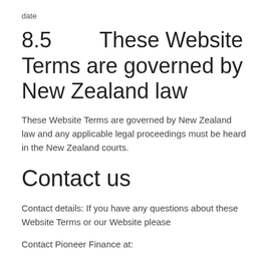date
8.5        These Website Terms are governed by New Zealand law
These Website Terms are governed by New Zealand law and any applicable legal proceedings must be heard in the New Zealand courts.
Contact us
Contact details: If you have any questions about these Website Terms or our Website please
Contact Pioneer Finance at: